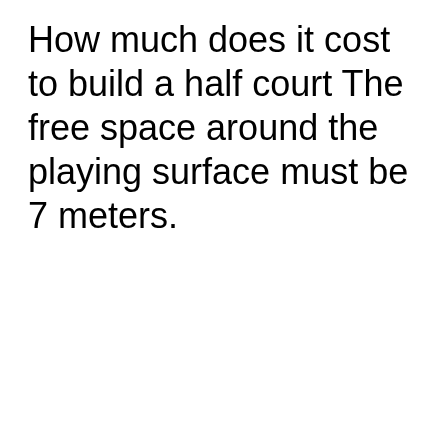How much does it cost to build a half court The free space around the playing surface must be 7 meters.